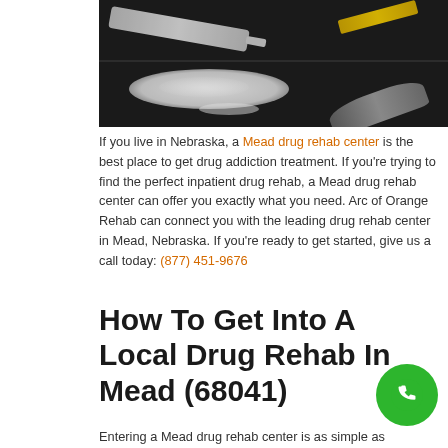[Figure (photo): Dark background photo showing drug paraphernalia: white powder, a syringe, a spoon, and measuring tape on a dark surface]
If you live in Nebraska, a Mead drug rehab center is the best place to get drug addiction treatment. If you're trying to find the perfect inpatient drug rehab, a Mead drug rehab center can offer you exactly what you need. Arc of Orange Rehab can connect you with the leading drug rehab center in Mead, Nebraska. If you're ready to get started, give us a call today: (877) 451-9676
How To Get Into A Local Drug Rehab In Mead (68041)
Entering a Mead drug rehab center is as simple as